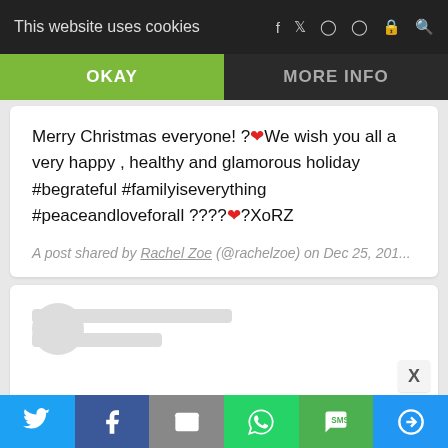This website uses cookies
OKAY
MORE INFO
Merry Christmas everyone! ?❤We wish you all a very happy , healthy and glamorous holiday #begrateful #familyiseverything #peaceandloveforall ????❤?XoRZ
A post shared by Rachel Zoe (@rachelzoe) on Dec 25, 201...
[Figure (screenshot): Loading skeleton of a second social media post card with avatar placeholder and two gray skeleton lines]
Share buttons: Twitter, Facebook, Email, WhatsApp, SMS, More